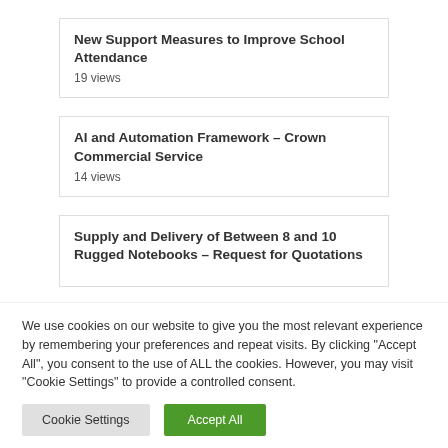New Support Measures to Improve School Attendance
19 views
AI and Automation Framework – Crown Commercial Service
14 views
Supply and Delivery of Between 8 and 10 Rugged Notebooks – Request for Quotations
We use cookies on our website to give you the most relevant experience by remembering your preferences and repeat visits. By clicking "Accept All", you consent to the use of ALL the cookies. However, you may visit "Cookie Settings" to provide a controlled consent.